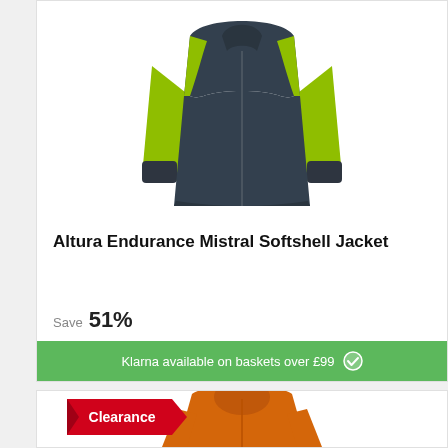[Figure (photo): Cycling softshell jacket with dark navy body and yellow-green sleeves, displayed on white background]
Altura Endurance Mistral Softshell Jacket
Save 51%
Klarna available on baskets over £99
[Figure (photo): Orange hooded jacket with Clearance tag, model wearing jacket]
Clearance